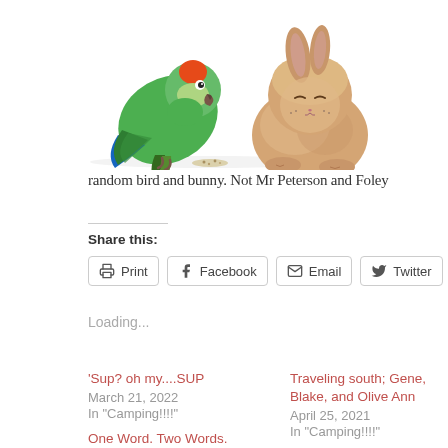[Figure (photo): A green and orange parrot on the left leaning toward seed, and a fluffy tan/brown rabbit on the right, both on a white background.]
random bird and bunny. Not Mr Peterson and Foley
Share this:
Print  Facebook  Email  Twitter
Loading...
'Sup? oh my....SUP
March 21, 2022
In "Camping!!!!"
Traveling south; Gene, Blake, and Olive Ann
April 25, 2021
In "Camping!!!!"
One Word. Two Words. Three Words.